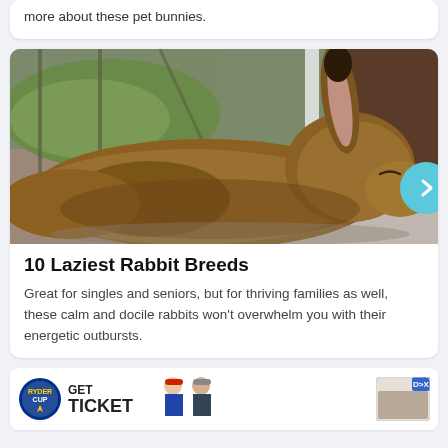more about these pet bunnies.
[Figure (photo): Close-up photo of a large brown rabbit resting in a cage, viewed from the side, with one ear raised upright. Green hay/grass visible in the background, metal cage bars, and a blurred background.]
10 Laziest Rabbit Breeds
Great for singles and seniors, but for thriving families as well, these calm and docile rabbits won't overwhelm you with their energetic outbursts.
[Figure (infographic): Advertisement banner: Ryder Cup logo on left, text GET TICKET in bold, two golf players in center, and a sponsored ad block on the right with DX label.]